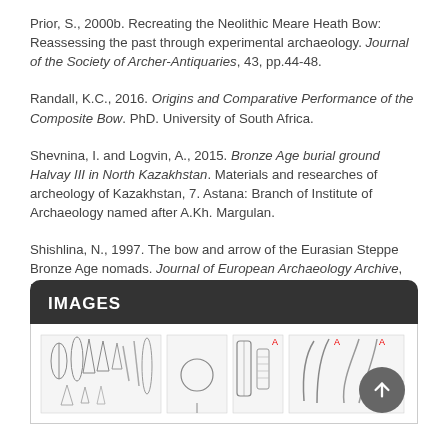Prior, S., 2000b. Recreating the Neolithic Meare Heath Bow: Reassessing the past through experimental archaeology. Journal of the Society of Archer-Antiquaries, 43, pp.44-48.
Randall, K.C., 2016. Origins and Comparative Performance of the Composite Bow. PhD. University of South Africa.
Shevnina, I. and Logvin, A., 2015. Bronze Age burial ground Halvay III in North Kazakhstan. Materials and researches of archeology of Kazakhstan, 7. Astana: Branch of Institute of Archaeology named after A.Kh. Margulan.
Shishlina, N., 1997. The bow and arrow of the Eurasian Steppe Bronze Age nomads. Journal of European Archaeology Archive, 5(2), pp.53-66.
IMAGES
[Figure (photo): Archaeological artifacts including arrowheads, tools, and other objects displayed in a row with letter labels A.]